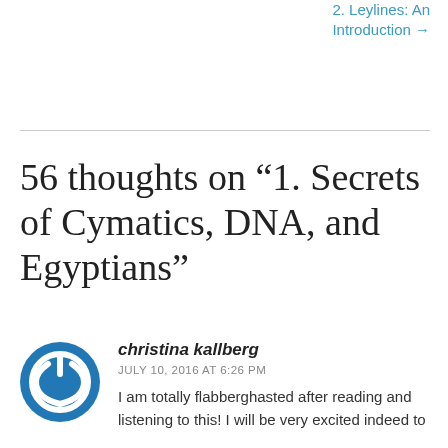2. Leylines: An Introduction →
56 thoughts on “1. Secrets of Cymatics, DNA, and Egyptians”
christina kallberg
JULY 10, 2016 AT 6:26 PM
I am totally flabberghasted after reading and listening to this! I will be very excited indeed to